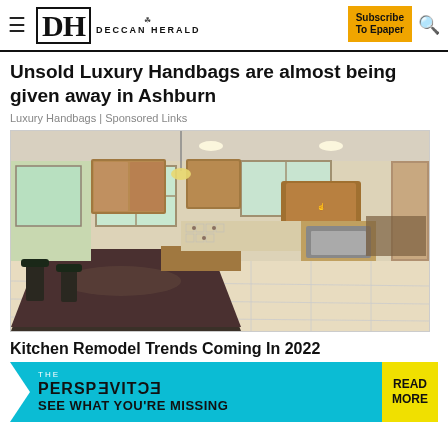DH DECCAN HERALD | Subscribe To Epaper
Unsold Luxury Handbags are almost being given away in Ashburn
Luxury Handbags | Sponsored Links
[Figure (photo): Photo of a luxury kitchen with dark granite island countertop, wooden cabinets, pendant light, stainless steel appliances, and tile floor]
Kitchen Remodel Trends Coming In 2022
[Figure (infographic): The Perspective banner advertisement with teal background reading 'THE PERSPECTIVE SEE WHAT YOU'RE MISSING' with a yellow READ MORE button]